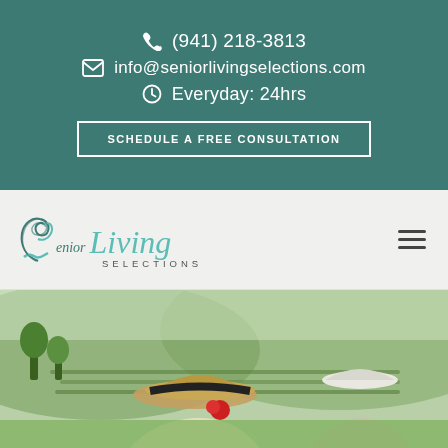(941) 218-3813
info@seniorlivingselections.com
Everyday: 24hrs
SCHEDULE A FREE CONSULTATION
[Figure (logo): Senior Living Selections logo with swan icon and script text]
[Figure (photo): Elderly couple viewed from behind, wearing hats, looking out over a green vineyard landscape]